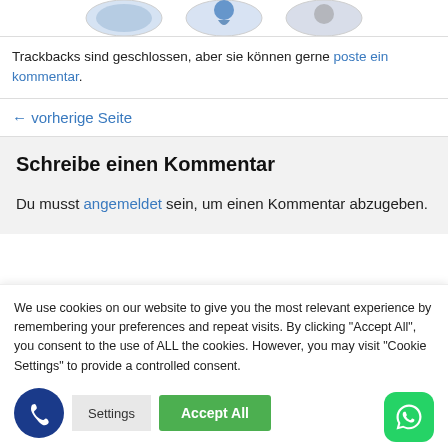[Figure (illustration): Partial view of circular images/logos at the top of the page, cropped]
Trackbacks sind geschlossen, aber sie können gerne poste ein kommentar.
← vorherige Seite
Schreibe einen Kommentar
Du musst angemeldet sein, um einen Kommentar abzugeben.
We use cookies on our website to give you the most relevant experience by remembering your preferences and repeat visits. By clicking "Accept All", you consent to the use of ALL the cookies. However, you may visit "Cookie Settings" to provide a controlled consent.